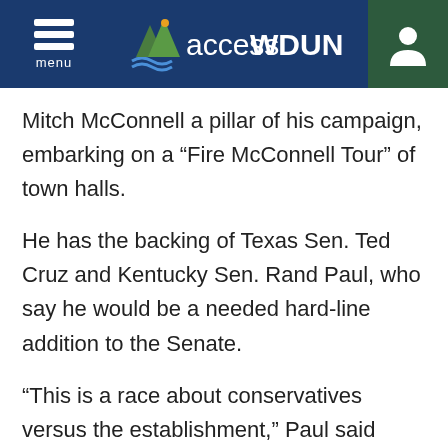accessWDUN
Mitch McConnell a pillar of his campaign, embarking on a “Fire McConnell Tour” of town halls.
He has the backing of Texas Sen. Ted Cruz and Kentucky Sen. Rand Paul, who say he would be a needed hard-line addition to the Senate.
“This is a race about conservatives versus the establishment,” Paul said Friday in north Alabama. “We need a fighter. We’re not going to get it if you send us any old Republican. We need a fighter like Mo Brooks.”